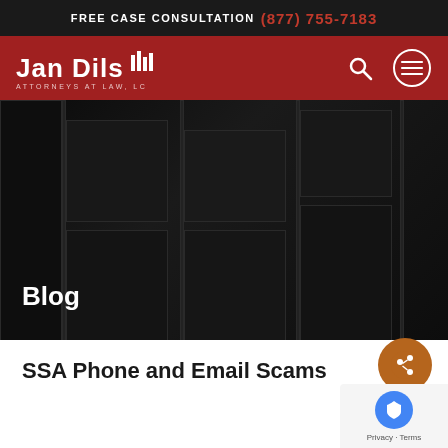FREE CASE CONSULTATION (877) 755-7183
[Figure (logo): Jan Dils Attorneys at Law, LC logo — white text with building icon on red background, with search and menu icons]
[Figure (photo): Dark hero image showing abstract dark panels/windows with 'Blog' text overlay in white]
SSA Phone and Email Scams